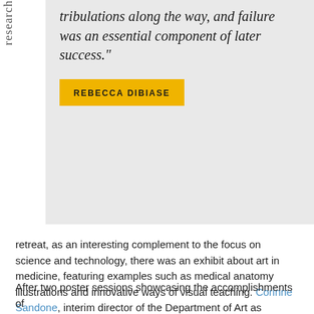research
tribulations along the way, and failure was an essential component of later success."
REBECCA DIBIASE
retreat, as an interesting complement to the focus on science and technology, there was an exhibit about art in medicine, featuring examples such as medical anatomy illustrations and innovative ways of visual teaching. Corinne Sandone, interim director of the Department of Art as Applied to Medicine and director of the Graduate Program in Medical and Biological Illustration, gave a talk about this important and fascinating aspect of medical education. The Department of Art as Applied to Medicine has existed at Johns Hopkins for over 100 years, and consists of highly talented students and professionals who have a knack both for scientific knowledge and artistic development, and have embraced the reconciliation of these two seemingly starkly different fields.
After two poster sessions showcasing the accomplishments of